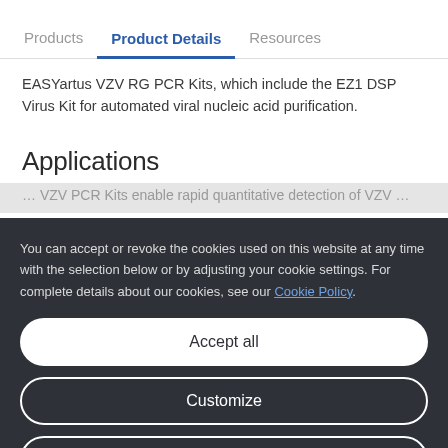Products | Product Details | Resources
EASYartus VZV RG PCR Kits, which include the EZ1 DSP Virus Kit for automated viral nucleic acid purification.
Applications
You can accept or revoke the cookies used on this website at any time with the selection below or by adjusting your cookie settings. For complete details about our cookies, see our Cookie Policy.
Accept all
Customize
Only necessary